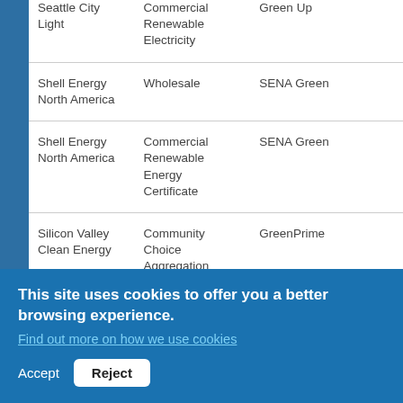|  |  |  |  |
| --- | --- | --- | --- |
| Seattle City Light | Commercial Renewable Electricity | Green Up |  |
| Shell Energy North America | Wholesale | SENA Green |  |
| Shell Energy North America | Commercial Renewable Energy Certificate | SENA Green |  |
| Silicon Valley Clean Energy | Community Choice Aggregation | GreenPrime |  |
| Silicon Valley Clean Energy | Residential Renewable... | GreenPrime |  |
This site uses cookies to offer you a better browsing experience. Find out more on how we use cookies